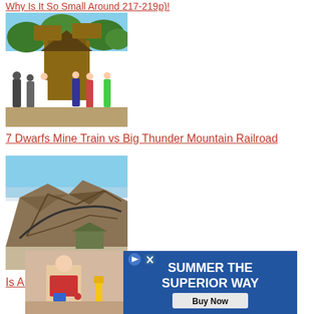Why Is It So Small Around 217-219p)!
[Figure (photo): Theme park entrance with wooden signs and people queuing, outdoors in summer]
7 Dwarfs Mine Train vs Big Thunder Mountain Railroad
[Figure (photo): Roller coaster structure under construction or maintenance, rocky mountain themed attraction]
Is Animal Kingdoms Expedition Everest
[Figure (photo): Advertisement banner: SUMMER THE SUPERIOR WAY - Buy Now, with person at table visible on left]